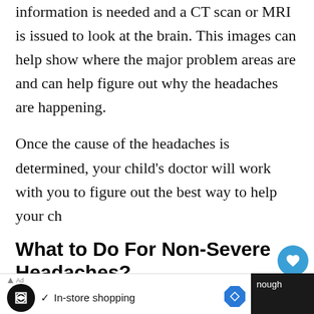information is needed and a CT scan or MRI is issued to look at the brain. This images can help show where the major problem areas are and can help figure out why the headaches are happening.
Once the cause of the headaches is determined, your child's doctor will work with you to figure out the best way to help your ch
What to Do For Non-Severe Headaches?